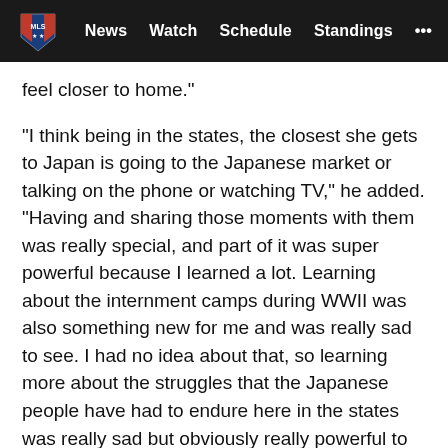MLS | News  Watch  Schedule  Standings  ...
feel closer to home."
"I think being in the states, the closest she gets to Japan is going to the Japanese market or talking on the phone or watching TV," he added. "Having and sharing those moments with them was really special, and part of it was super powerful because I learned a lot. Learning about the internment camps during WWII was also something new for me and was really sad to see. I had no idea about that, so learning more about the struggles that the Japanese people have had to endure here in the states was really sad but obviously really powerful to learn more about."